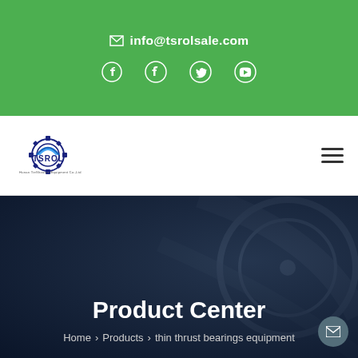✉ info@tsrolsale.com
[Figure (logo): TSROL company logo with gear icon and text 'Hunan TieShouron Equipment Co.,Ltd']
Product Center
Home > Products > thin thrust bearings equipment